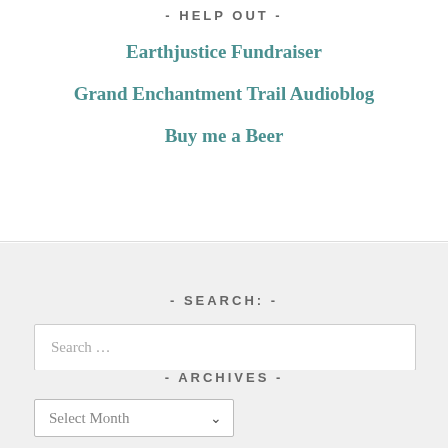- HELP OUT -
Earthjustice Fundraiser
Grand Enchantment Trail Audioblog
Buy me a Beer
- SEARCH: -
Search …
- ARCHIVES -
Select Month